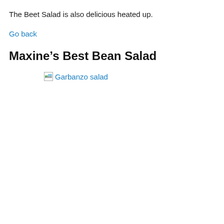The Beet Salad is also delicious heated up.
Go back
Maxine's Best Bean Salad
[Figure (photo): Broken/unloaded image placeholder with alt text 'Garbanzo salad' shown in blue link color]